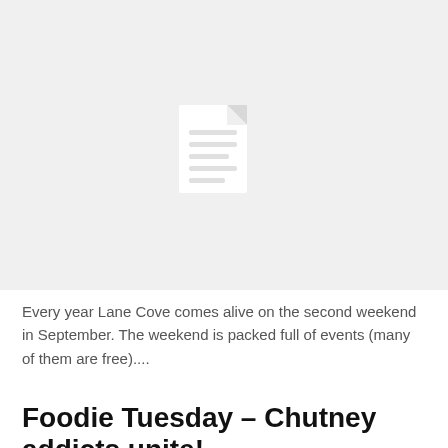[Figure (illustration): Gray placeholder image with a document/file icon in the center made of white shapes on a light gray background]
Every year Lane Cove comes alive on the second weekend in September.  The weekend is packed full of events (many of them are free)....
Foodie Tuesday – Chutney addicts unite!